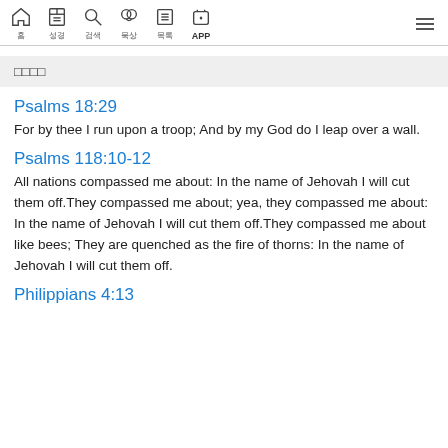Navigation bar with home, bible, search, study, list, APP icons and hamburger menu
□□□□
Psalms 18:29
For by thee I run upon a troop; And by my God do I leap over a wall.
Psalms 118:10-12
All nations compassed me about: In the name of Jehovah I will cut them off.They compassed me about; yea, they compassed me about: In the name of Jehovah I will cut them off.They compassed me about like bees; They are quenched as the fire of thorns: In the name of Jehovah I will cut them off.
Philippians 4:13